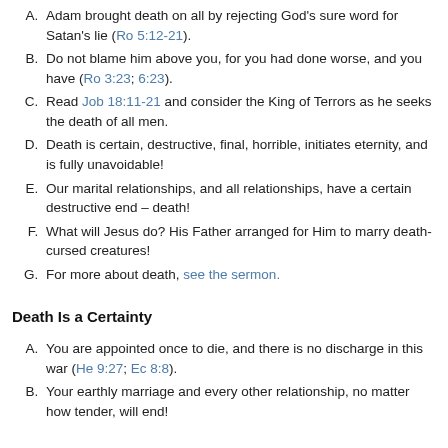A. Adam brought death on all by rejecting God's sure word for Satan's lie (Ro 5:12-21).
B. Do not blame him above you, for you had done worse, and you have (Ro 3:23; 6:23).
C. Read Job 18:11-21 and consider the King of Terrors as he seeks the death of all men.
D. Death is certain, destructive, final, horrible, initiates eternity, and is fully unavoidable!
E. Our marital relationships, and all relationships, have a certain destructive end – death!
F. What will Jesus do? His Father arranged for Him to marry death-cursed creatures!
G. For more about death, see the sermon.
Death Is a Certainty
A. You are appointed once to die, and there is no discharge in this war (He 9:27; Ec 8:8).
B. Your earthly marriage and every other relationship, no matter how tender, will end!